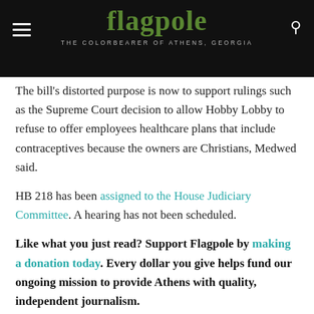flagpole — THE COLORBEARER OF ATHENS, GEORGIA
The bill's distorted purpose is now to support rulings such as the Supreme Court decision to allow Hobby Lobby to refuse to offer employees healthcare plans that include contraceptives because the owners are Christians, Medwed said.
HB 218 has been assigned to the House Judiciary Committee. A hearing has not been scheduled.
Like what you just read? Support Flagpole by making a donation today. Every dollar you give helps fund our ongoing mission to provide Athens with quality, independent journalism.